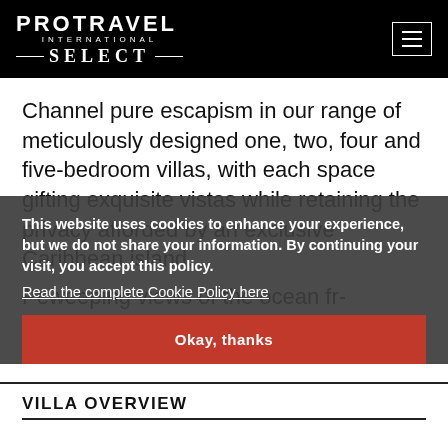PROTRAVEL INTERNATIONAL SELECT
Channel pure escapism in our range of meticulously designed one, two, four and five-bedroom villas, with each space gifting exquisite vistas while retaining the privacy afforded by an exclusive Caribbean island.
This website uses cookies to enhance your experience, but we do not share your information. By continuing your visit, you accept this policy.
Read the complete Cookie Policy here
Perfectly positioned for sweeping views of the ocean from your private infinity pool, immersing
Read More
Okay, thanks
VILLA OVERVIEW